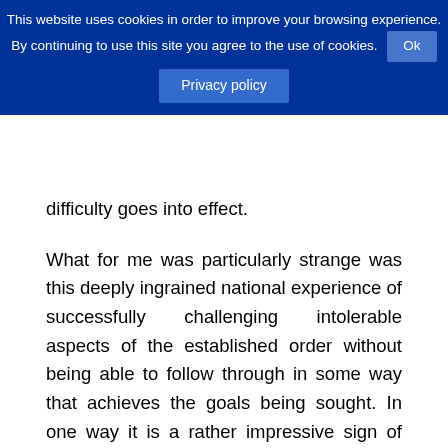This website uses cookies in order to improve your browsing experience. By continuing to use this site you agree to the use of cookies. Ok Privacy policy
difficulty goes into effect.
What for me was particularly strange was this deeply ingrained national experience of successfully challenging intolerable aspects of the established order without being able to follow through in some way that achieves the goals being sought. In one way it is a rather impressive sign of reconciliation to realize that the son of Ferdinand Marcos, Bong-Bong, is an influential senator, and is even contemplating a run for the presidency in 2016 despite never repudiating the policies and